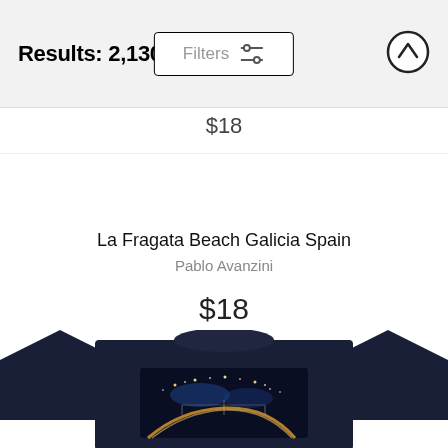Results: 2,130
Filters
$18
La Fragata Beach Galicia Spain
Pablo Avanzini
$18
[Figure (photo): Dark navy t-shirt with a photo print of a coastal city at night showing a curved road with light trails, bridges, and city lights.]